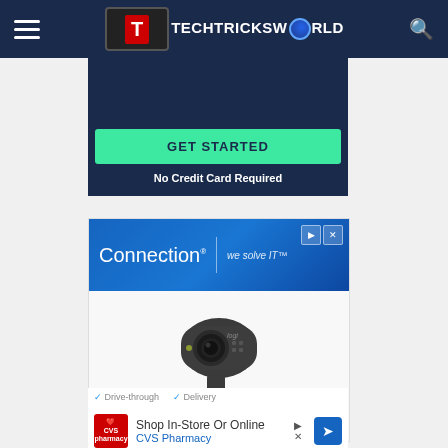TechTricksWorld navigation bar
[Figure (screenshot): Advertisement banner with 'GET STARTED' button on dark blue background and 'No Credit Card Required' text]
[Figure (screenshot): Connection 'we solve IT' advertisement with Logitech webcam product image]
[Figure (screenshot): CVS Pharmacy advertisement with 'Shop In-Store Or Online' text and Drive-through/Delivery options]